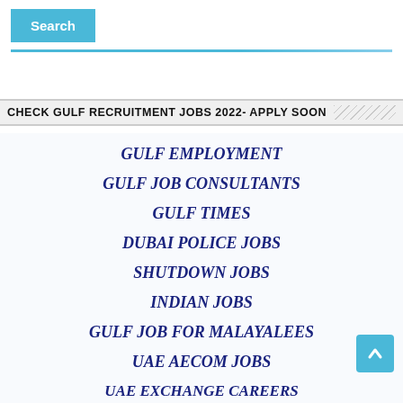Search
CHECK GULF RECRUITMENT JOBS 2022- APPLY SOON
GULF EMPLOYMENT
GULF JOB CONSULTANTS
GULF TIMES
DUBAI POLICE JOBS
SHUTDOWN JOBS
INDIAN JOBS
GULF JOB FOR MALAYALEES
UAE AECOM JOBS
UAE EXCHANGE CAREERS